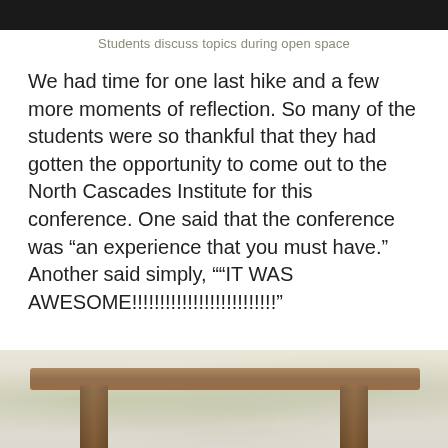[Figure (photo): Top portion of a photo of students, only the very bottom edge visible as a dark strip]
Students discuss topics during open space
We had time for one last hike and a few more moments of reflection. So many of the students were so thankful that they had gotten the opportunity to come out to the North Cascades Institute for this conference. One said that the conference was “an experience that you must have.” Another said simply, ““IT WAS AWESOME!!!!!!!!!!!!!!!!!!!!!!!!!!”
[Figure (photo): Bottom portion of an outdoor photo showing a wooden beam/structure with posts, trees and forest in the background]